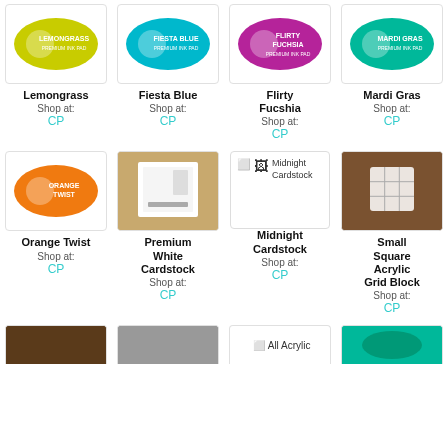[Figure (illustration): Lemongrass ink pad oval, yellow-green color]
Lemongrass
Shop at:
CP
[Figure (illustration): Fiesta Blue ink pad oval, teal/turquoise color]
Fiesta Blue
Shop at:
CP
[Figure (illustration): Flirty Fuchsia ink pad oval, purple/magenta color]
Flirty Fucshia
Shop at:
CP
[Figure (illustration): Mardi Gras ink pad oval, teal/green color]
Mardi Gras
Shop at:
CP
[Figure (illustration): Orange Twist ink pad oval, orange color]
Orange Twist
Shop at:
CP
[Figure (photo): Premium White Cardstock product photo on wooden surface]
Premium White Cardstock
Shop at:
CP
[Figure (photo): Midnight Cardstock broken image placeholder]
Midnight Cardstock
Shop at:
CP
[Figure (photo): Small Square Acrylic Grid Block on wooden surface]
Small Square Acrylic Grid Block
Shop at:
CP
[Figure (photo): Bottom row item 1 partial]
[Figure (photo): Bottom row item 2 partial]
[Figure (photo): All Acrylic partial text visible]
[Figure (photo): Bottom row item 4 partial]